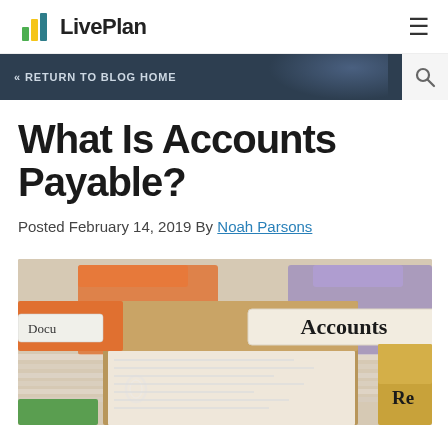LivePlan
« RETURN TO BLOG HOME
What Is Accounts Payable?
Posted February 14, 2019 By Noah Parsons
[Figure (photo): Close-up photo of file folders with colorful tabs (orange, green, tan/gold, purple) and a white label reading 'Accounts' on the prominent center folder tab, with another folder partially visible showing 'Docu...' and 'Re' on other tabs.]